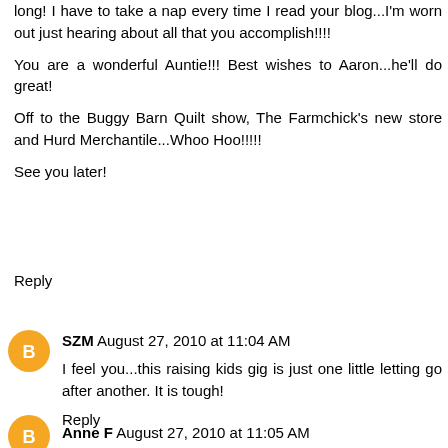long! I have to take a nap every time I read your blog...I'm worn out just hearing about all that you accomplish!!!!
You are a wonderful Auntie!!! Best wishes to Aaron...he'll do great!
Off to the Buggy Barn Quilt show, The Farmchick's new store and Hurd Merchantile...Whoo Hoo!!!!!
See you later!
Reply
SZM August 27, 2010 at 11:04 AM
I feel you...this raising kids gig is just one little letting go after another. It is tough!
Reply
Anne F August 27, 2010 at 11:05 AM